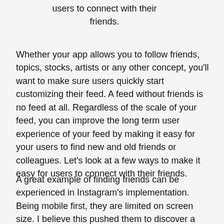users to connect with their friends.
Whether your app allows you to follow friends, topics, stocks, artists or any other concept, you'll want to make sure users quickly start customizing their feed. A feed without friends is no feed at all. Regardless of the scale of your feed, you can improve the long term user experience of your feed by making it easy for your users to find new and old friends or colleagues. Let’s look at a few ways to make it easy for users to connect with their friends.
A great example of finding friends can be experienced in Instagram’s implementation. Being mobile first, they are limited on screen size. I believe this pushed them to discover a unique and powerful UI pattern.